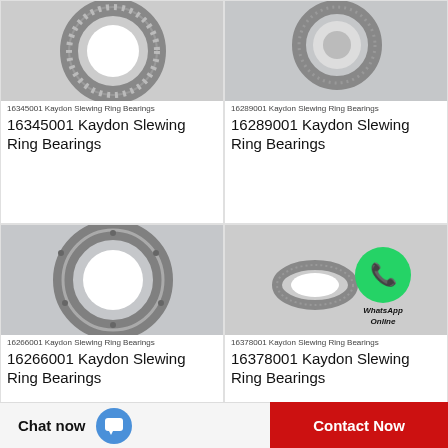[Figure (photo): 16345001 Kaydon Slewing Ring Bearing product photo - metallic ring bearing]
16345001 Kaydon Slewing Ring Bearings
16345001 Kaydon Slewing Ring Bearings
[Figure (photo): 16289001 Kaydon Slewing Ring Bearing product photo]
16289001 Kaydon Slewing Ring Bearings
16289001 Kaydon Slewing Ring Bearings
[Figure (photo): 16266001 Kaydon Slewing Ring Bearing product photo - large ring bearing]
16266001 Kaydon Slewing Ring Bearings
16266001 Kaydon Slewing Ring Bearings
[Figure (photo): 16378001 Kaydon Slewing Ring Bearing product photo with WhatsApp Online overlay]
16378001 Kaydon Slewing Ring Bearings
16378001 Kaydon Slewing Ring Bearings
Chat now
Contact Now